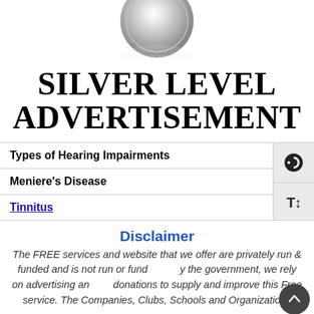[Figure (photo): Silver coin with reflection below it, centered at top of page]
SILVER LEVEL ADVERTISEMENT
Types of Hearing Impairments
Meniere's Disease
Tinnitus
Disclaimer
The FREE services and website that we offer are privately run & funded and is not run or funded by the government, we rely on advertising and donations to supply and improve this Free service. The Companies, Clubs, Schools and Organizations